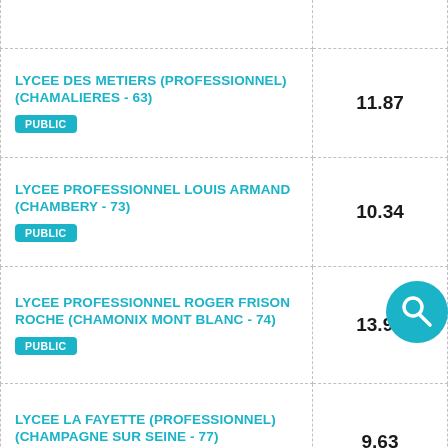| École | Note |
| --- | --- |
| LYCEE DES METIERS (PROFESSIONNEL) (CHAMALIERES - 63) PUBLIC | 11.87 |
| LYCEE PROFESSIONNEL LOUIS ARMAND (CHAMBERY - 73) PUBLIC | 10.34 |
| LYCEE PROFESSIONNEL ROGER FRISON ROCHE (CHAMONIX MONT BLANC - 74) PUBLIC | 13.94 |
| LYCEE LA FAYETTE (PROFESSIONNEL) (CHAMPAGNE SUR SEINE - 77) PUBLIC | 9.63 |
| LYCEE PAUL EMILE VICTOR |  |